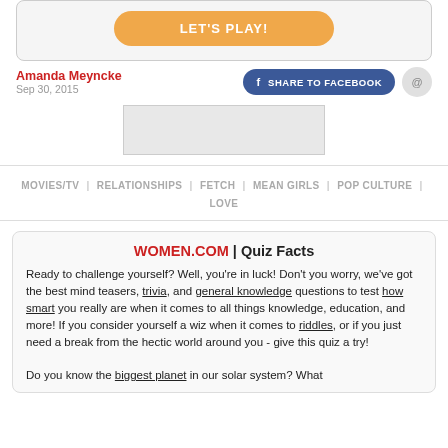[Figure (other): Orange rounded button labeled LET'S PLAY! inside a light gray card]
Amanda Meyncke
Sep 30, 2015
[Figure (other): Share to Facebook blue rounded button and Pinterest circular grey button]
MOVIES/TV | RELATIONSHIPS | FETCH | MEAN GIRLS | POP CULTURE | LOVE
WOMEN.COM | Quiz Facts
Ready to challenge yourself? Well, you're in luck! Don't you worry, we've got the best mind teasers, trivia, and general knowledge questions to test how smart you really are when it comes to all things knowledge, education, and more! If you consider yourself a wiz when it comes to riddles, or if you just need a break from the hectic world around you - give this quiz a try!

Do you know the biggest planet in our solar system? What